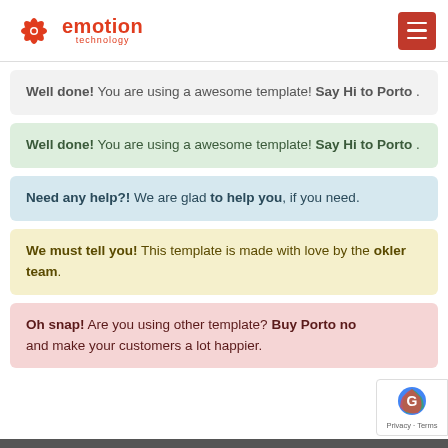[Figure (logo): Emotion Technology logo with stylized red flower/star icon and red text]
Well done! You are using a awesome template! Say Hi to Porto .
Well done! You are using a awesome template! Say Hi to Porto .
Need any help?! We are glad to help you, if you need.
We must tell you! This template is made with love by the okler team.
Oh snap! Are you using other template? Buy Porto no and make your customers a lot happier.